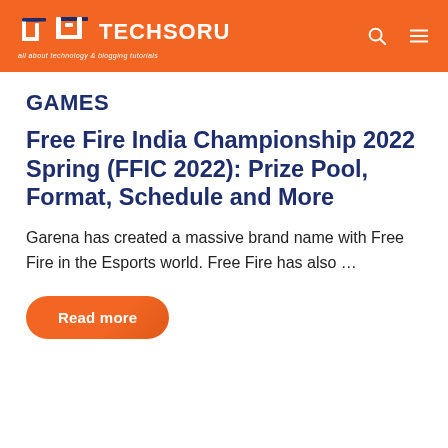TECHSORU — all about technology & blogging tutorials
GAMES
Free Fire India Championship 2022 Spring (FFIC 2022): Prize Pool, Format, Schedule and More
Garena has created a massive brand name with Free Fire in the Esports world. Free Fire has also …
Read more